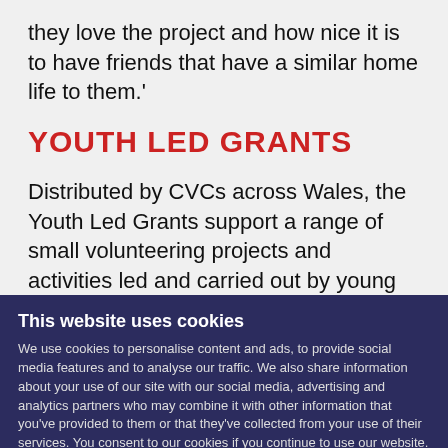they love the project and how nice it is to have friends that have a similar home life to them.'
YOUTH LED GRANTS
Distributed by CVCs across Wales, the Youth Led Grants support a range of small volunteering projects and activities led and carried out by young people. I
This website uses cookies
We use cookies to personalise content and ads, to provide social media features and to analyse our traffic. We also share information about your use of our site with our social media, advertising and analytics partners who may combine it with other information that you've provided to them or that they've collected from your use of their services. You consent to our cookies if you continue to use our website.
Allow selection
Allow all cookies
Necessary  Preferences  Statistics  Marketing  Show details